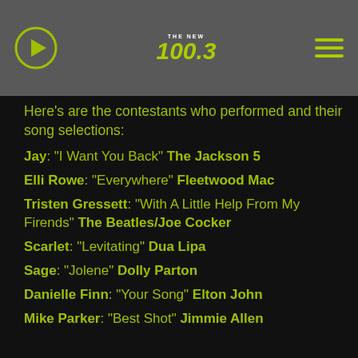THE NEW 100.3
Here's are the contestants who performed and their song selections:
Jay: "I Want You Back" The Jackson 5
Elli Rowe: "Everywhere" Fleetwood Mac
Tristen Gressett: "With A Little Help From My Firends" The Beatles/Joe Cocker
Scarlet: "Levitating" Dua Lipa
Sage: "Jolene" Dolly Parton
Danielle Finn: "Your Song" Elton John
Mike Parker: "Best Shot" Jimmie Allen